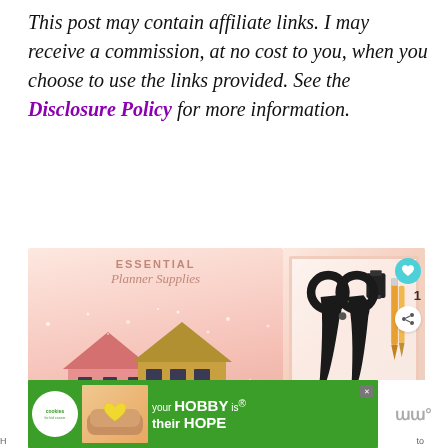This post may contain affiliate links. I may receive a commission, at no cost to you, when you choose to use the links provided. See the Disclosure Policy for more information.
[Figure (illustration): Two side-by-side images: left shows 'Essential Planner Supplies' illustrated graphic with houses in a winter scene; right shows a product photo of stationery (scissors, clips, pens) in a pink box with social share overlay showing 'WHAT'S NEXT — Autumn Wildflower...']
[Figure (illustration): Advertisement banner: 'cookies for kid's cancer' with text 'your HOBBY is their HOPE' and a heart-shaped cookie image, with a close button and a media logo on the right]